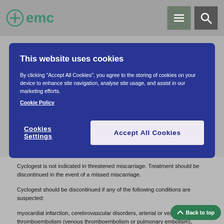emc
This website uses cookies
By clicking "Accept All Cookies", you agree to the storing of cookies on your device to enhance site navigation, analyse site usage, and assist in our marketing efforts. Cookie Policy
Cookies Settings
Accept All Cookies
Cyclogest is not indicated in threatened miscarriage. Treatment should be discontinued in the event of a missed miscarriage.
Cyclogest should be discontinued if any of the following conditions are suspected:
myocardial infarction, cerebrovascular disorders, arterial or venous thromboembolism (venous thromboembolism or pulmonary embolism), thrombophlebitis or retinal thrombosis.
Although risk of thromboembolism has been associated with estrogens, a link with progestins remains questionable. Therefore, in women with generally recognised risk factors for thromboembolic events, such as